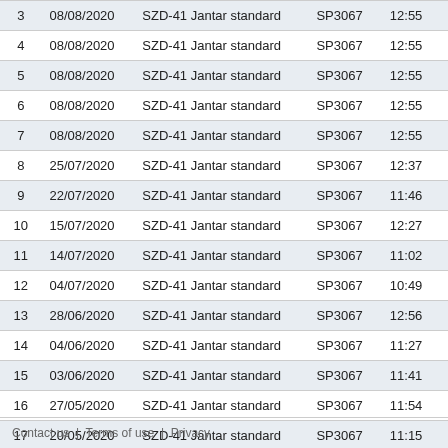| # | Date | Type | Registration | Time |
| --- | --- | --- | --- | --- |
| 3 | 08/08/2020 | SZD-41 Jantar standard | SP3067 | 12:55 |
| 4 | 08/08/2020 | SZD-41 Jantar standard | SP3067 | 12:55 |
| 5 | 08/08/2020 | SZD-41 Jantar standard | SP3067 | 12:55 |
| 6 | 08/08/2020 | SZD-41 Jantar standard | SP3067 | 12:55 |
| 7 | 08/08/2020 | SZD-41 Jantar standard | SP3067 | 12:55 |
| 8 | 25/07/2020 | SZD-41 Jantar standard | SP3067 | 12:37 |
| 9 | 22/07/2020 | SZD-41 Jantar standard | SP3067 | 11:46 |
| 10 | 15/07/2020 | SZD-41 Jantar standard | SP3067 | 12:27 |
| 11 | 14/07/2020 | SZD-41 Jantar standard | SP3067 | 11:02 |
| 12 | 04/07/2020 | SZD-41 Jantar standard | SP3067 | 10:49 |
| 13 | 28/06/2020 | SZD-41 Jantar standard | SP3067 | 12:56 |
| 14 | 04/06/2020 | SZD-41 Jantar standard | SP3067 | 11:27 |
| 15 | 03/06/2020 | SZD-41 Jantar standard | SP3067 | 11:41 |
| 16 | 27/05/2020 | SZD-41 Jantar standard | SP3067 | 11:54 |
| 17 | 20/05/2020 | SZD-41 Jantar standard | SP3067 | 11:15 |
Contact us  |  Terms of use  |  Privacy